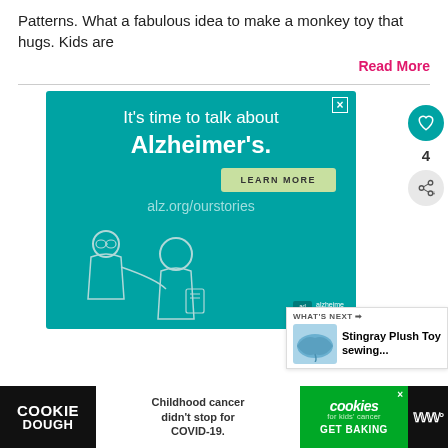Patterns. What a fabulous idea to make a monkey toy that hugs. Kids are
Read More
[Figure (advertisement): Alzheimer's Association advertisement with teal background. Text: It's time to talk about Alzheimer's. LEARN MORE button. alz.org/ourstories. Illustration of two people, an older person and a younger person. ad badge and alzheimer's association logo at bottom.]
[Figure (infographic): What's Next panel showing a stingray plush toy image with text: Stingray Plush Toy sewing...]
[Figure (advertisement): Cookie Dough / Cookies for Kids Cancer ad bar at bottom. Black background with COOKIE DOUGH logo on left. White center: Childhood cancer didn't stop for COVID-19. Green right panel: cookies for kids' cancer GET BAKING. WW logo on far right.]